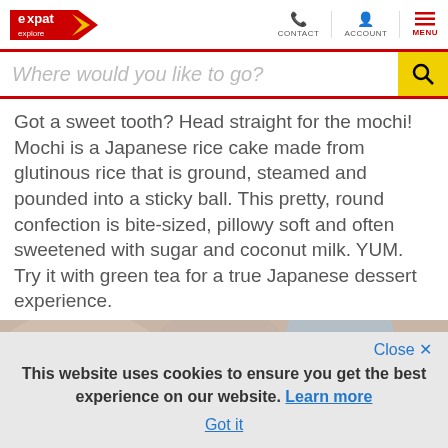Expat Explore | CONTACT | ACCOUNT | MENU
Where would you like to go?
Got a sweet tooth? Head straight for the mochi! Mochi is a Japanese rice cake made from glutinous rice that is ground, steamed and pounded into a sticky ball. This pretty, round confection is bite-sized, pillowy soft and often sweetened with sugar and coconut milk. YUM. Try it with green tea for a true Japanese dessert experience.
[Figure (photo): Close-up photo of mochi, round Japanese rice cake confections]
This website uses cookies to ensure you get the best experience on our website. Learn more
Got it